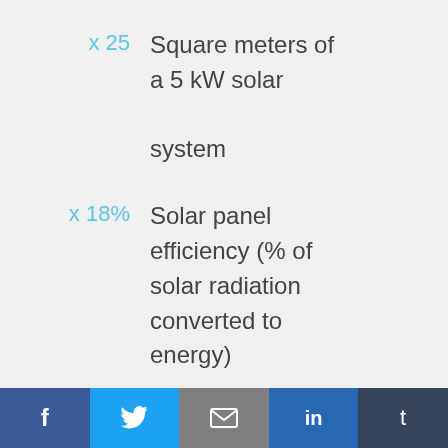x 25 — Square meters of a 5 kW solar system
x 18% — Solar panel efficiency (% of solar radiation converted to energy)
29.39 — kWh of electricity